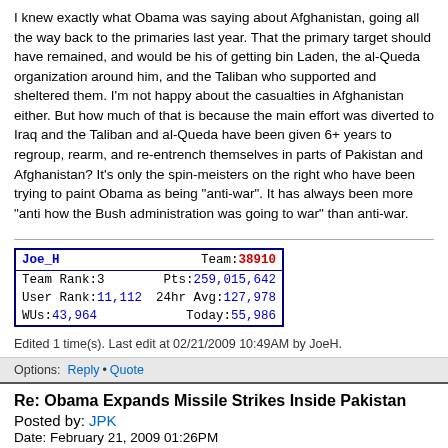I knew exactly what Obama was saying about Afghanistan, going all the way back to the primaries last year. That the primary target should have remained, and would be his of getting bin Laden, the al-Queda organization around him, and the Taliban who supported and sheltered them. I'm not happy about the casualties in Afghanistan either. But how much of that is because the main effort was diverted to Iraq and the Taliban and al-Queda have been given 6+ years to regroup, rearm, and re-entrench themselves in parts of Pakistan and Afghanistan? It's only the spin-meisters on the right who have been trying to paint Obama as being "anti-war". It has always been more "anti how the Bush administration was going to war" than anti-war.
| Joe_H | Team: 38910 |
| --- | --- |
| Team Rank:3 | Pts:259,015,642 |
| User Rank:11,112 | 24hr Avg:127,978 |
| WUs:43,964 | Today:55,986 |
Edited 1 time(s). Last edit at 02/21/2009 10:49AM by JoeH.
Options:  Reply • Quote
Re: Obama Expands Missile Strikes Inside Pakistan
Posted by: JPK
Date: February 21, 2009 01:26PM
I will sum up the typical response that will be seen to this: